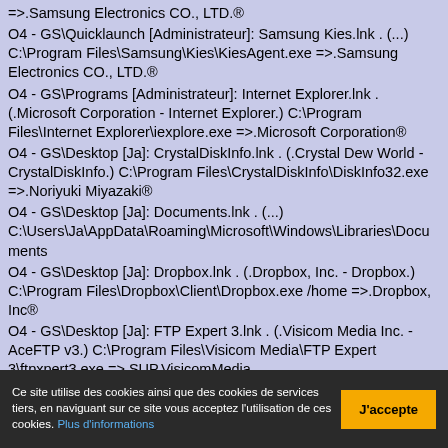=>.Samsung Electronics CO., LTD.®
O4 - GS\Quicklaunch [Administrateur]: Samsung Kies.lnk . (...) C:\Program Files\Samsung\Kies\KiesAgent.exe =>.Samsung Electronics CO., LTD.®
O4 - GS\Programs [Administrateur]: Internet Explorer.lnk . (.Microsoft Corporation - Internet Explorer.) C:\Program Files\Internet Explorer\iexplore.exe =>.Microsoft Corporation®
O4 - GS\Desktop [Ja]: CrystalDiskInfo.lnk . (.Crystal Dew World - CrystalDiskInfo.) C:\Program Files\CrystalDiskInfo\DiskInfo32.exe =>.Noriyuki Miyazaki®
O4 - GS\Desktop [Ja]: Documents.lnk . (...) C:\Users\Ja\AppData\Roaming\Microsoft\Windows\Libraries\Documents
O4 - GS\Desktop [Ja]: Dropbox.lnk . (.Dropbox, Inc. - Dropbox.) C:\Program Files\Dropbox\Client\Dropbox.exe /home =>.Dropbox, Inc®
O4 - GS\Desktop [Ja]: FTP Expert 3.lnk . (.Visicom Media Inc. - AceFTP v3.) C:\Program Files\Visicom Media\FTP Expert 3\ftpxpert3.exe =>.SUP.VisicomMedia
O4 - GS\Desktop [Ja]: Internet Explorer.lnk . (.Microsoft...
Ce site utilise des cookies ainsi que des cookies de services tiers, en naviguant sur ce site vous acceptez l'utilisation de ces cookies. Plus d'informations
J'accepte